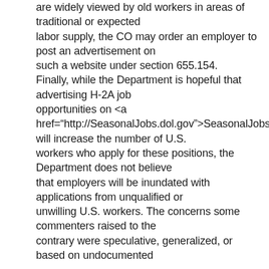are widely viewed by old workers in areas of traditional or expected labor supply, the CO may order an employer to post an advertisement on such a website under section 655.154. Finally, while the Department is hopeful that advertising H-2A job opportunities on <a href="http://SeasonalJobs.dol.gov">SeasonalJobs.dol.gov will increase the number of U.S. workers who apply for these positions, the Department does not believe that employers will be inundated with applications from unqualified or unwilling U.S. workers. The concerns some commenters raised to the contrary were speculative, generalized, or based on undocumented